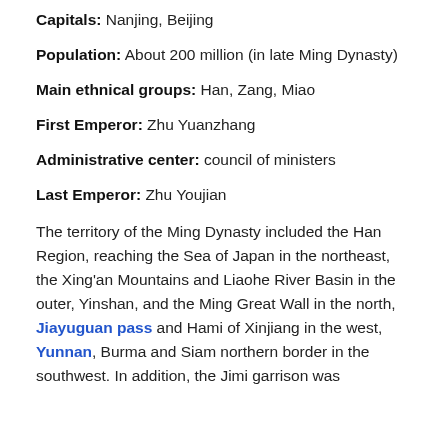Capitals: Nanjing, Beijing
Population: About 200 million (in late Ming Dynasty)
Main ethnical groups: Han, Zang, Miao
First Emperor: Zhu Yuanzhang
Administrative center: council of ministers
Last Emperor: Zhu Youjian
The territory of the Ming Dynasty included the Han Region, reaching the Sea of Japan in the northeast, the Xing'an Mountains and Liaohe River Basin in the outer, Yinshan, and the Ming Great Wall in the north, Jiayuguan pass and Hami of Xinjiang in the west, Yunnan, Burma and Siam northern border in the southwest. In addition, the Jimi garrison was